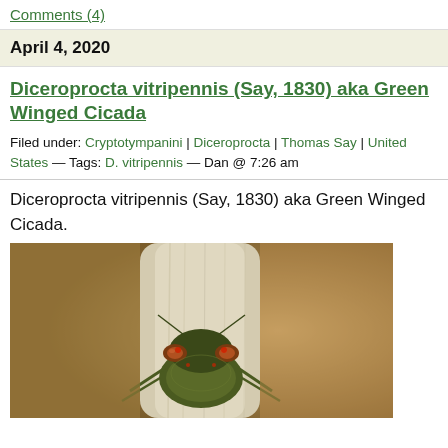Comments (4)
April 4, 2020
Diceroprocta vitripennis (Say, 1830) aka Green Winged Cicada
Filed under: Cryptotympanini | Diceroprocta | Thomas Say | United States — Tags: D. vitripennis — Dan @ 7:26 am
Diceroprocta vitripennis (Say, 1830) aka Green Winged Cicada.
[Figure (photo): Close-up macro photograph of a cicada (Diceroprocta vitripennis) clinging to a branch, showing its head and compound eyes, with a beige/tan bark background and brownish blurred background]